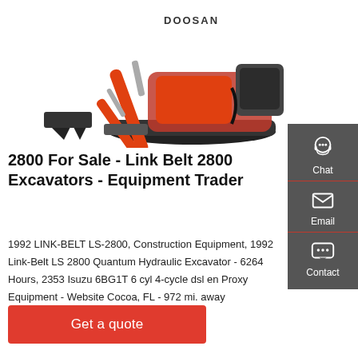[Figure (photo): Orange and black Doosan mini excavator with articulated arm and bucket on tracks, shown against a white background. Brand name DOOSAN visible on the machine.]
2800 For Sale - Link Belt 2800 Excavators - Equipment Trader
1992 LINK-BELT LS-2800, Construction Equipment, 1992 Link-Belt LS 2800 Quantum Hydraulic Excavator - 6264 Hours, 2353 Isuzu 6BG1T 6 cyl 4-cycle dsl en Proxy Equipment - Website Cocoa, FL - 972 mi. away
[Figure (infographic): Dark grey sidebar with three icons: Chat (headset icon), Email (envelope icon), Contact (speech bubble icon), each separated by a red horizontal line.]
Get a quote